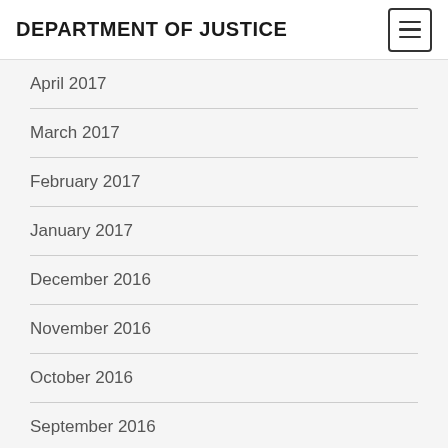DEPARTMENT OF JUSTICE
April 2017
March 2017
February 2017
January 2017
December 2016
November 2016
October 2016
September 2016
August 2016
July 2016